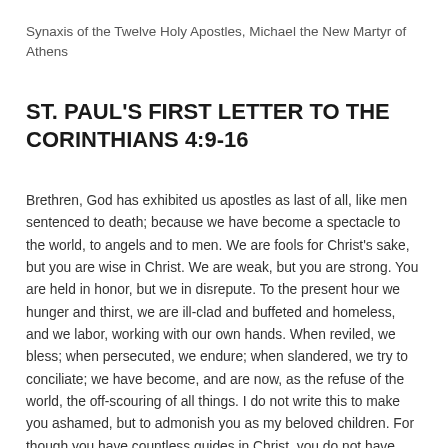Synaxis of the Twelve Holy Apostles, Michael the New Martyr of Athens
ST. PAUL'S FIRST LETTER TO THE CORINTHIANS 4:9-16
Brethren, God has exhibited us apostles as last of all, like men sentenced to death; because we have become a spectacle to the world, to angels and to men. We are fools for Christ's sake, but you are wise in Christ. We are weak, but you are strong. You are held in honor, but we in disrepute. To the present hour we hunger and thirst, we are ill-clad and buffeted and homeless, and we labor, working with our own hands. When reviled, we bless; when persecuted, we endure; when slandered, we try to conciliate; we have become, and are now, as the refuse of the world, the off-scouring of all things. I do not write this to make you ashamed, but to admonish you as my beloved children. For though you have countless guides in Christ, you do not have